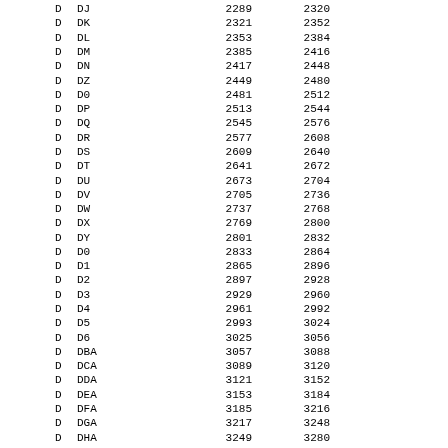| D | DJ | 2289 | 2320 |
| D | DK | 2321 | 2352 |
| D | DL | 2353 | 2384 |
| D | DM | 2385 | 2416 |
| D | DN | 2417 | 2448 |
| D | DZ | 2449 | 2480 |
| D | D0 | 2481 | 2512 |
| D | DP | 2513 | 2544 |
| D | DQ | 2545 | 2576 |
| D | DR | 2577 | 2608 |
| D | DS | 2609 | 2640 |
| D | DT | 2641 | 2672 |
| D | DU | 2673 | 2704 |
| D | DV | 2705 | 2736 |
| D | DW | 2737 | 2768 |
| D | DX | 2769 | 2800 |
| D | DY | 2801 | 2832 |
| D | D0 | 2833 | 2864 |
| D | D1 | 2865 | 2896 |
| D | D2 | 2897 | 2928 |
| D | D3 | 2929 | 2960 |
| D | D4 | 2961 | 2992 |
| D | D5 | 2993 | 3024 |
| D | D6 | 3025 | 3056 |
| D | DBA | 3057 | 3088 |
| D | DCA | 3089 | 3120 |
| D | DDA | 3121 | 3152 |
| D | DEA | 3153 | 3184 |
| D | DFA | 3185 | 3216 |
| D | DGA | 3217 | 3248 |
| D | DHA | 3249 | 3280 |
| D | DIA | 3281 | 3312 |
| D | DJA | 3313 | 3344 |
| D | DKA | 3345 | 3376 |
| D | DLA | 3377 | 3408 |
| D | DMA | 3409 | 3440 |
| D | DNA | 3441 | 3472 |
| D | D0A | 3473 | 3504 |